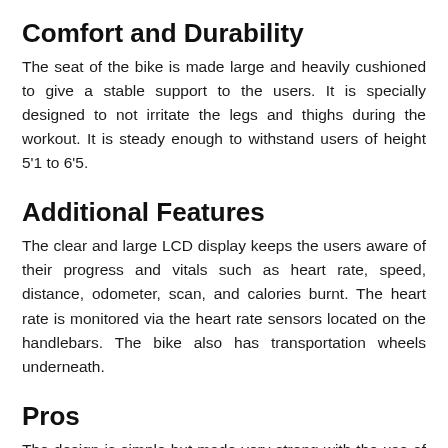Comfort and Durability
The seat of the bike is made large and heavily cushioned to give a stable support to the users. It is specially designed to not irritate the legs and thighs during the workout. It is steady enough to withstand users of height 5'1 to 6'5.
Additional Features
The clear and large LCD display keeps the users aware of their progress and vitals such as heart rate, speed, distance, odometer, scan, and calories burnt. The heart rate is monitored via the heart rate sensors located on the handlebars. The bike also has transportation wheels underneath.
Pros
The design is simple but made very strong with the use of heavyduty steel to bear 400 lbs. weight.